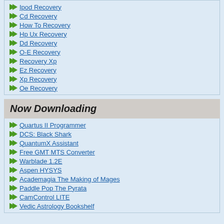Ipod Recovery
Cd Recovery
How To Recovery
Hp Ux Recovery
Dd Recovery
O-E Recovery
Recovery Xp
Ez Recovery
Xp Recovery
Oe Recovery
Now Downloading
Quartus II Programmer
DCS: Black Shark
QuantumX Assistant
Free GMT MTS Converter
Warblade 1.2E
Aspen HYSYS
Academagia The Making of Mages
Paddle Pop The Pyrata
CamControl LITE
Vedic Astrology Bookshelf
WhatsApp Recovery for iOS devices and transfer and directly from device w
Copyright © 1995-2022 PCW